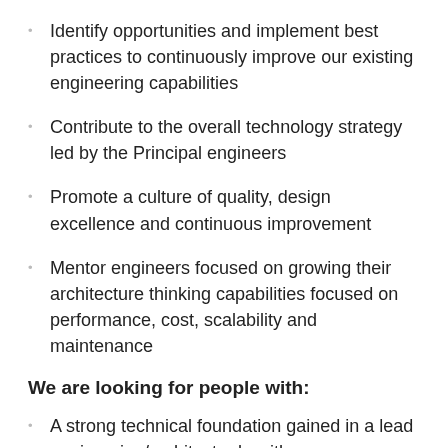Identify opportunities and implement best practices to continuously improve our existing engineering capabilities
Contribute to the overall technology strategy led by the Principal engineers
Promote a culture of quality, design excellence and continuous improvement
Mentor engineers focused on growing their architecture thinking capabilities focused on performance, cost, scalability and maintenance
We are looking for people with:
A strong technical foundation gained in a lead engineering/architect role with proven experience in designing, developing and operating web services at